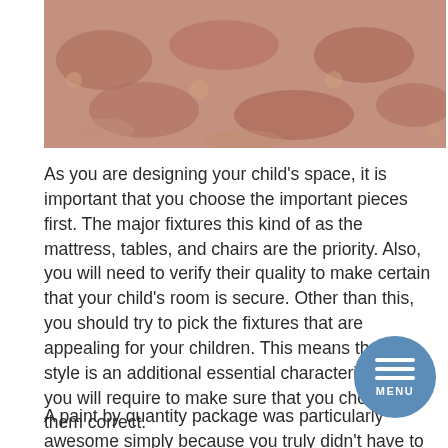[Figure (photo): Close-up photo of a pink/rose-colored textured carpet or rug with floral/abstract pattern, with a wooden bar visible at the top edge.]
As you are designing your child's space, it is important that you choose the important pieces first. The major fixtures this kind of as the mattress, tables, and chairs are the priority. Also, you will need to verify their quality to make certain that your child's room is secure. Other than this, you should try to pick the fixtures that are appealing for your children. This means that the style is an additional essential characteristic and you will require to make sure that you choose them correct.
A paint by quantity package was particularly awesome simply because you truly didn't have to have any